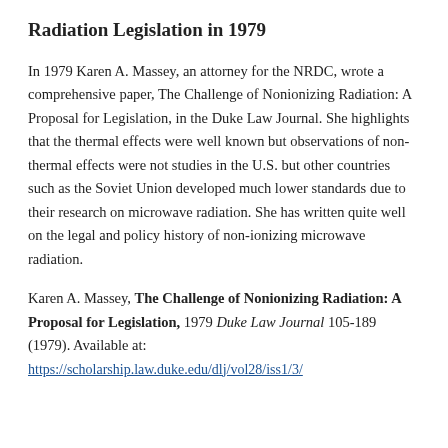Radiation Legislation in 1979
In 1979 Karen A. Massey, an attorney for the NRDC, wrote a comprehensive paper, The Challenge of Nonionizing Radiation: A Proposal for Legislation, in the Duke Law Journal. She highlights that the thermal effects were well known but observations of non-thermal effects were not studies in the U.S. but other countries such as the Soviet Union developed much lower standards due to their research on microwave radiation. She has written quite well on the legal and policy history of non-ionizing microwave radiation.
Karen A. Massey, The Challenge of Nonionizing Radiation: A Proposal for Legislation, 1979 Duke Law Journal 105-189 (1979). Available at: https://scholarship.law.duke.edu/dlj/vol28/iss1/3/